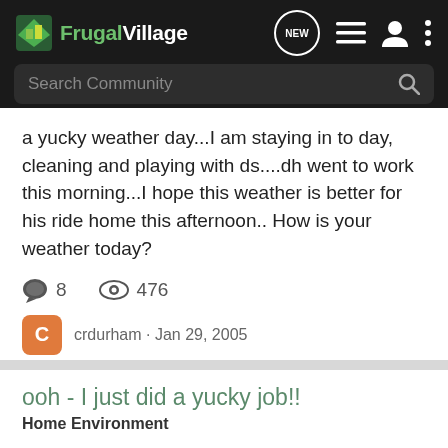FrugalVillage
a yucky weather day...I am staying in to day, cleaning and playing with ds....dh went to work this morning...I hope this weather is better for his ride home this afternoon.. How is your weather today?
8 comments · 476 views
crdurham · Jan 29, 2005
weather  yucky
ooh - I just did a yucky job!!
Home Environment
I tore all the bedding off the waterbed and vacuumed the mattress and in between the liner and mattress and then washed it all with lysol. :yucky: Does anyone else do this